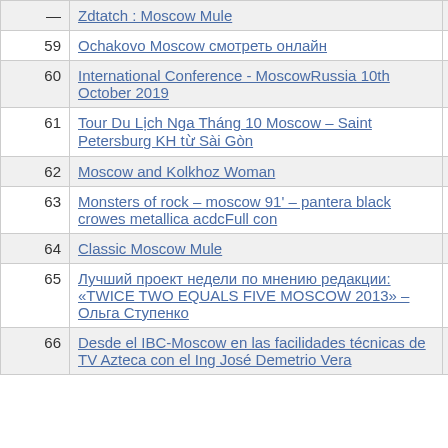| # | Title | Count |
| --- | --- | --- |
| 59 | Ochakovo Moscow смотреть онлайн | 1 |
| 60 | International Conference - MoscowRussia 10th October 2019 | 1 |
| 61 | Tour Du Lịch Nga Tháng 10 Moscow – Saint Petersburg KH từ Sài Gòn | 1 |
| 62 | Moscow and Kolkhoz Woman | 1 |
| 63 | Monsters of rock – moscow 91' – pantera black crowes metallica acdcFull con | 1 |
| 64 | Classic Moscow Mule | 1 |
| 65 | Лучший проект недели по мнению редакции: «TWICE TWO EQUALS FIVE MOSCOW 2013» – Ольга Ступенко | 1 |
| 66 | Desde el IBC-Moscow en las facilidades técnicas de TV Azteca con el Ing José Demetrio Vera | 1 |